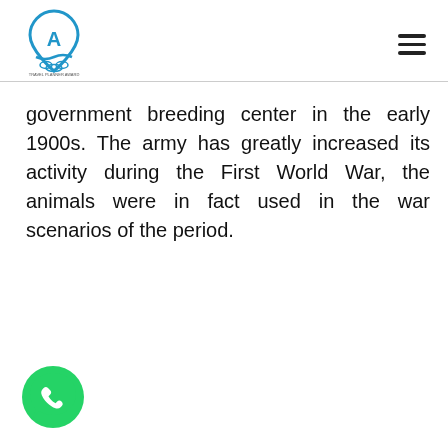Travel Planner Award logo and navigation menu
government breeding center in the early 1900s. The army has greatly increased its activity during the First World War, the animals were in fact used in the war scenarios of the period.
[Figure (logo): WhatsApp icon button at the bottom left]